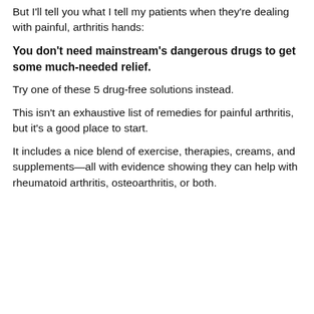But I'll tell you what I tell my patients when they're dealing with painful, arthritis hands:
You don't need mainstream's dangerous drugs to get some much-needed relief.
Try one of these 5 drug-free solutions instead.
This isn't an exhaustive list of remedies for painful arthritis, but it's a good place to start.
It includes a nice blend of exercise, therapies, creams, and supplements—all with evidence showing they can help with rheumatoid arthritis, osteoarthritis, or both.